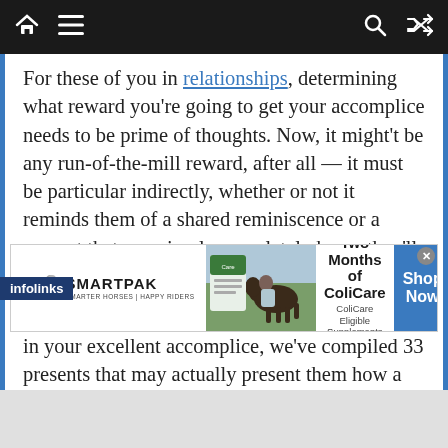[navigation bar with home, menu, search, shuffle icons]
For these of you in relationships, determining what reward you're going to get your accomplice needs to be prime of thoughts. Now, it might't be any run-of-the-mill reward, after all — it must be particular indirectly, whether or not it reminds them of a shared reminiscence or a present that you simply completely know they'll love.
So that will help you discover the right current in your excellent accomplice, we've compiled 33 presents that may actually present them how a lot you care. In search of extra concepts? Try all our
[Figure (screenshot): SmartPak advertisement banner: 50% Off Two Months of ColiCare, ColiCare Eligible Supplements, CODE: COLICARE10, with horse and rider photo, Shop Now button]